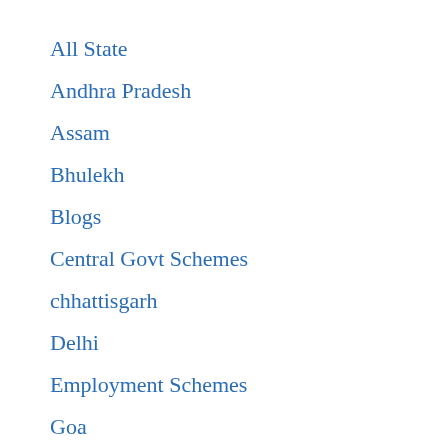All State
Andhra Pradesh
Assam
Bhulekh
Blogs
Central Govt Schemes
chhattisgarh
Delhi
Employment Schemes
Goa
Govt-Schemes
Gujarat